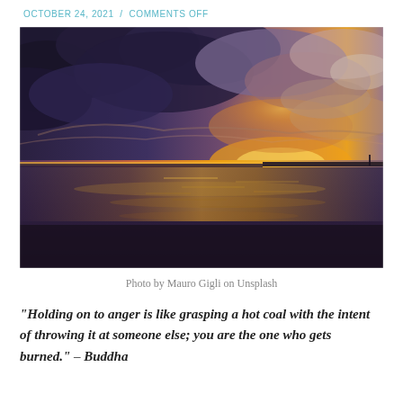OCTOBER 24, 2021  /  COMMENTS OFF
[Figure (photo): A dramatic sunset over a calm body of water, with dark storm clouds filled with shades of purple, blue, and grey above, and a vivid orange-yellow glow on the horizon where the sun is setting. The water reflects the warm sunset colors in shimmering patterns.]
Photo by Mauro Gigli on Unsplash
“Holding on to anger is like grasping a hot coal with the intent of throwing it at someone else; you are the one who gets burned.” – Buddha